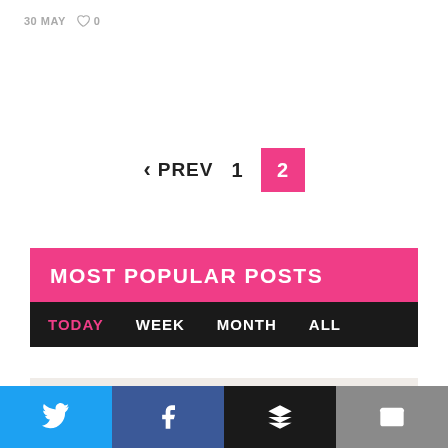30 MAY  ♥ 0
< PREV  1  2
MOST POPULAR POSTS
TODAY  WEEK  MONTH  ALL
WE NEED TO TALK ABOUT MONEY: MUSICIANS WITHOUT FINANCIAL PRIVILEGE ARE BEING PUSHED OUT
OUT OF CONTEXT # 4: THE MUDDY